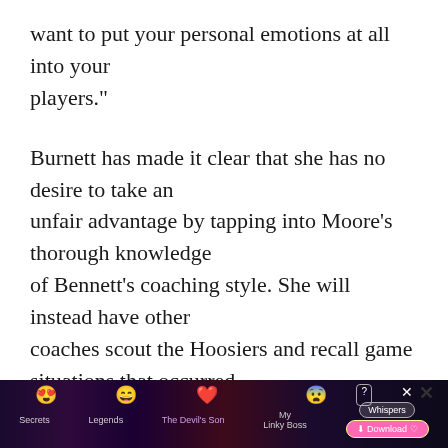want to put your personal emotions at all into your players."
Burnett has made it clear that she has no desire to take an unfair advantage by tapping into Moore's thorough knowledge of Bennett's coaching style. She will instead have other coaches scout the Hoosiers and recall game situations that occurred when Burnett led Southwest Missouri State against Bennett's
[Figure (other): Advertisement banner at the bottom of the page featuring colorful characters and a download button for 'Whispers' app, with emoji reactions and close/question buttons.]